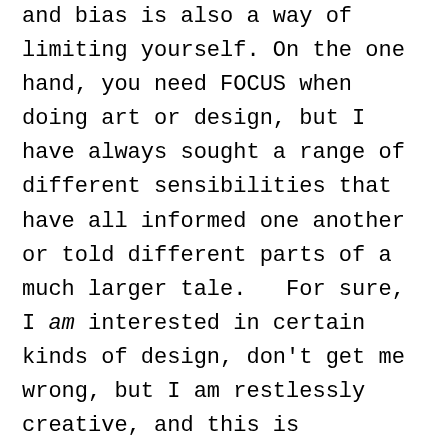and bias is also a way of limiting yourself. On the one hand, you need FOCUS when doing art or design, but I have always sought a range of different sensibilities that have all informed one another or told different parts of a much larger tale.   For sure, I am interested in certain kinds of design, don't get me wrong, but I am restlessly creative, and this is evidenced in my enormous writing output over the last year as well as my going into teaching sculpture at the local university. Its more like I can't tell the whole story in English, and I need four more languages with which to explain everything!  This flies in the face of everything my teachers tried to convey to me early on, and yet, just like our need to find objects that are well designed and made that help  express our OWN sense of style and